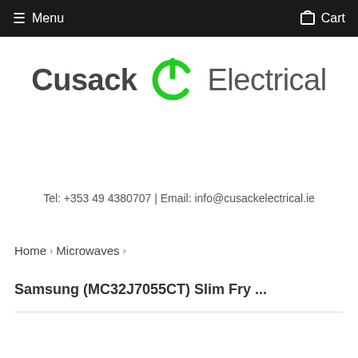Menu  Cart
[Figure (logo): Cusack Electrical logo with green power button icon between the two words]
Tel: +353 49 4380707 | Email: info@cusackelectrical.ie
Home › Microwaves ›
Samsung (MC32J7055CT) Slim Fry ...